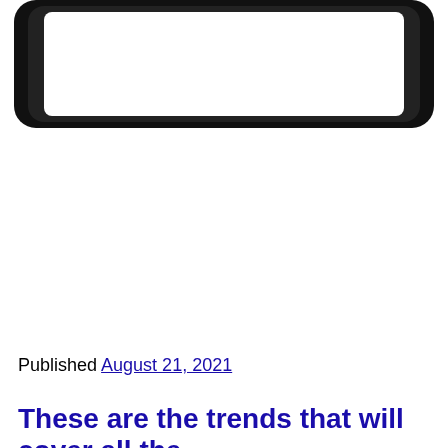[Figure (illustration): Illustration of a tablet/screen device shown from the front, with a thick black rounded rectangular border and a white screen area inside. Only the top portion of the tablet is visible, cropped at the bottom of the image area.]
Published August 21, 2021
These are the trends that will cover all the